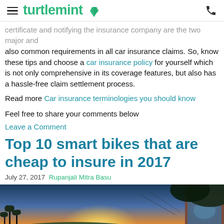turtlemint
certificate and notifying the insurance company are the two major and also common requirements in all car insurance claims. So, know these tips and choose a car insurance policy for yourself which is not only comprehensive in its coverage features, but also has a hassle-free claim settlement process.
Read more Car insurance terminologies you should know
Feel free to share your comments below
Leave a Comment
Top 10 smart bikes that are cheap to insure in 2017
July 27, 2017 Rupanjali Mitra Basu
[Figure (photo): Outdoor sunset photo showing palm trees silhouetted against a bright golden sky with a vehicle side mirror visible on the right side]